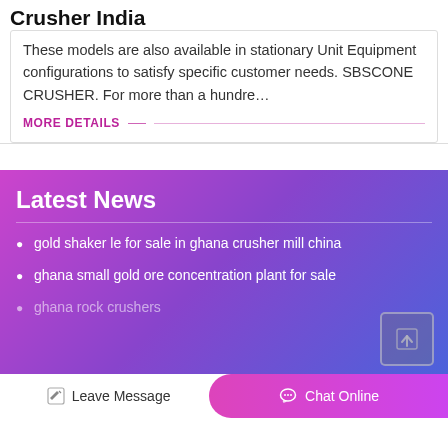Crusher India
These models are also available in stationary Unit Equipment configurations to satisfy specific customer needs. SBSCONE CRUSHER. For more than a hundre…
MORE DETAILS
Latest News
gold shaker le for sale in ghana crusher mill china
ghana small gold ore concentration plant for sale
ghana rock crushers
Leave Message
Chat Online